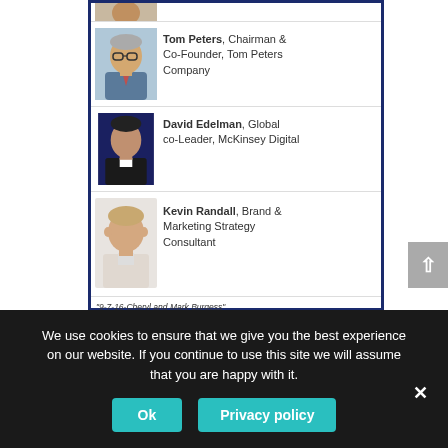[Figure (screenshot): Website screenshot showing a list of speakers with photos: Tom Peters (Chairman & Co-Founder, Tom Peters Company), David Edelman (Global co-Leader, McKinsey Digital), Kevin Randall (Brand & Marketing Strategy Consultant), with a media player and track listing below.]
"9-7-16-Cheryl and Mark Burgess"
| Track | Duration |
| --- | --- |
| 1. "9-7-16-Cheryl and Mark Burgess" | 28:57 |
| 2. "9-7-14-Tom Peters" | 24:33 |
| 3. "9-7-16-Kevin Randall" | 24:16 |
| 4. "9-7-16-David Edelman" | 29:00 |
We use cookies to ensure that we give you the best experience on our website. If you continue to use this site we will assume that you are happy with it.